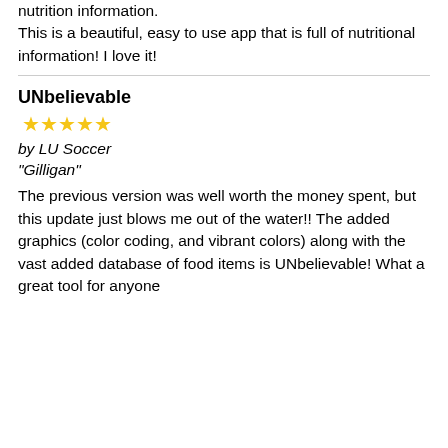nutrition information. This is a beautiful, easy to use app that is full of nutritional information! I love it!
UNbelievable
★★★★★
by LU Soccer "Gilligan"
The previous version was well worth the money spent, but this update just blows me out of the water!! The added graphics (color coding, and vibrant colors) along with the vast added database of food items is UNbelievable! What a great tool for anyone